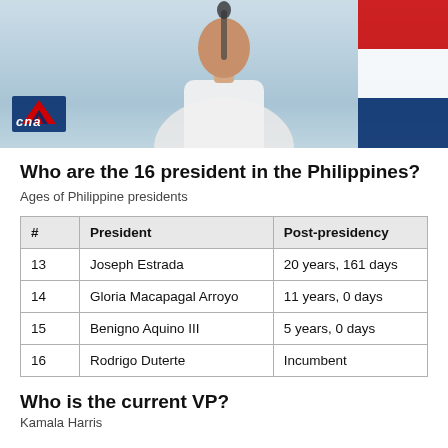[Figure (photo): Photo of a person at a podium with a microphone, with CNA logo in the lower left and flag in the background]
Who are the 16 president in the Philippines?
Ages of Philippine presidents
| # | President | Post-presidency |
| --- | --- | --- |
| 13 | Joseph Estrada | 20 years, 161 days |
| 14 | Gloria Macapagal Arroyo | 11 years, 0 days |
| 15 | Benigno Aquino III | 5 years, 0 days |
| 16 | Rodrigo Duterte | Incumbent |
Who is the current VP?
Kamala Harris